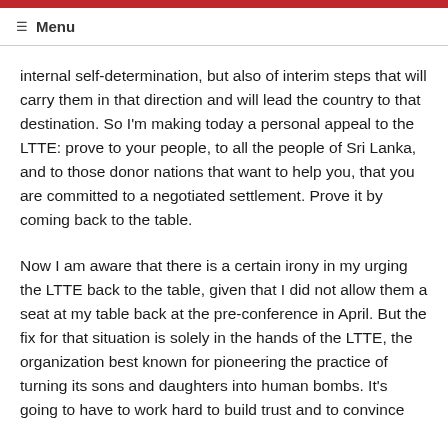Menu
internal self-determination, but also of interim steps that will carry them in that direction and will lead the country to that destination. So I'm making today a personal appeal to the LTTE: prove to your people, to all the people of Sri Lanka, and to those donor nations that want to help you, that you are committed to a negotiated settlement. Prove it by coming back to the table.
Now I am aware that there is a certain irony in my urging the LTTE back to the table, given that I did not allow them a seat at my table back at the pre-conference in April. But the fix for that situation is solely in the hands of the LTTE, the organization best known for pioneering the practice of turning its sons and daughters into human bombs. It's going to have to work hard to build trust and to convince